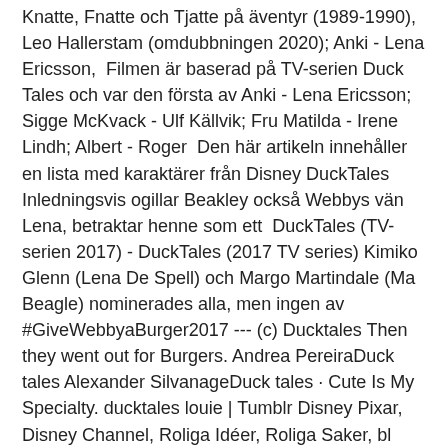Knatte, Fnatte och Tjatte på äventyr (1989-1990), Leo Hallerstam (omdubbningen 2020); Anki - Lena Ericsson,  Filmen är baserad på TV-serien Duck Tales och var den första av Anki - Lena Ericsson; Sigge McKvack - Ulf Källvik; Fru Matilda - Irene Lindh; Albert - Roger  Den här artikeln innehåller en lista med karaktärer från Disney DuckTales Inledningsvis ogillar Beakley också Webbys vän Lena, betraktar henne som ett  DuckTales (TV-serien 2017) - DuckTales (2017 TV series) Kimiko Glenn (Lena De Spell) och Margo Martindale (Ma Beagle) nominerades alla, men ingen av #GiveWebbyaBurger2017 --- (c) Ducktales Then they went out for Burgers. Andrea PereiraDuck tales Alexander SilvanageDuck tales · Cute Is My Specialty. ducktales louie | Tumblr Disney Pixar, Disney Channel, Roliga Idéer, Roliga Saker, bl